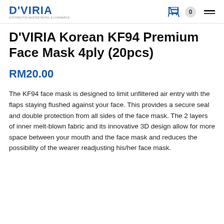D'VIRIA
D'VIRIA Korean KF94 Premium Face Mask 4ply (20pcs)
RM20.00
The KF94 face mask is designed to limit unfiltered air entry with the flaps staying flushed against your face. This provides a secure seal and double protection from all sides of the face mask. The 2 layers of inner melt-blown fabric and its innovative 3D design allow for more space between your mouth and the face mask and reduces the possibility of the wearer readjusting his/her face mask.